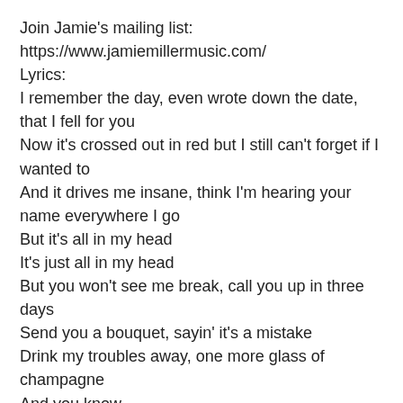Join Jamie's mailing list: https://www.jamiemillermusic.com/
Lyrics:
I remember the day, even wrote down the date, that I fell for you
Now it's crossed out in red but I still can't forget if I wanted to
And it drives me insane, think I'm hearing your name everywhere I go
But it's all in my head
It's just all in my head
But you won't see me break, call you up in three days
Send you a bouquet, sayin' it's a mistake
Drink my troubles away, one more glass of champagne
And you know
I'm the first to say that I'm not perfect
And you're the first to say you want the best thing
But now I know a perfect way to let you go
Give my last hello, hope it's worth it
Here's your perfect
My best was just fine